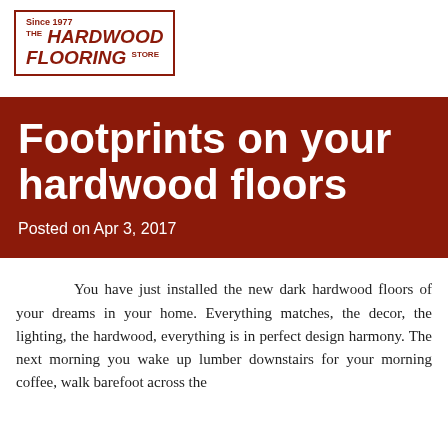[Figure (logo): The Hardwood Flooring Store logo with 'Since 1977' text above a bordered rectangle containing the store name in italic bold red text]
Footprints on your hardwood floors
Posted on Apr 3, 2017
You have just installed the new dark hardwood floors of your dreams in your home. Everything matches, the decor, the lighting, the hardwood, everything is in perfect design harmony. The next morning you wake up lumber downstairs for your morning coffee, walk barefoot across the